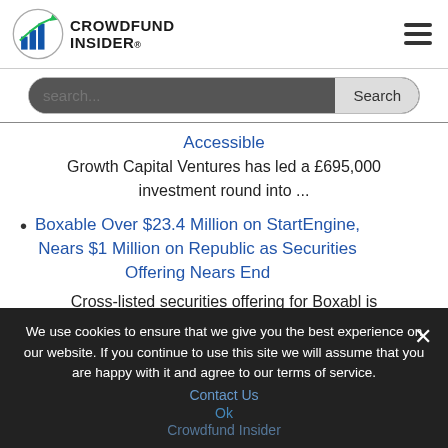[Figure (logo): Crowdfund Insider logo with bar chart icon]
search...
Accessible
Growth Capital Ventures has led a £695,000 investment round into ...
Boxable Over $23.4 Million on StartEngine, Nears $1 Million on Republic as Securities Offering Nears End
Cross-listed securities offering for Boxabl is nearing its end with ...
We use cookies to ensure that we give you the best experience on our website. If you continue to use this site we will assume that you are happy with it and agree to our terms of service.
Contact Us
Ok
Crowdfund Insider